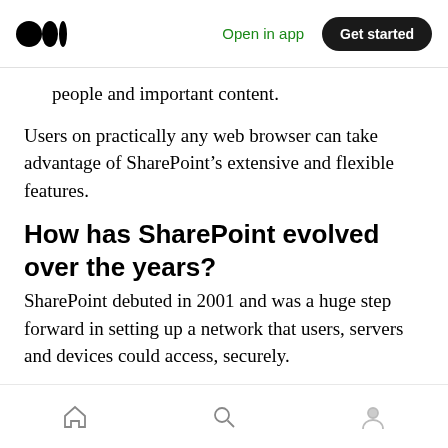Medium logo | Open in app | Get started
people and important content.
Users on practically any web browser can take advantage of SharePoint’s extensive and flexible features.
How has SharePoint evolved over the years?
SharePoint debuted in 2001 and was a huge step forward in setting up a network that users, servers and devices could access, securely.
New versions of SharePoint emerged in 2003,
Home | Search | Profile